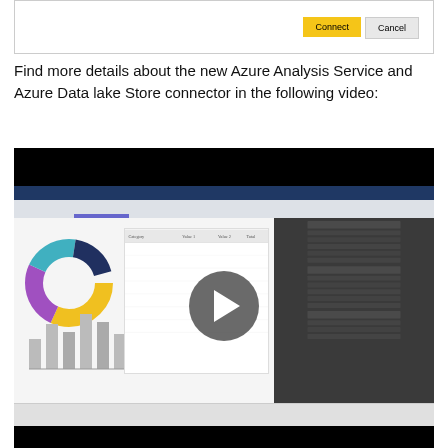[Figure (screenshot): Dialog box with Connect and Cancel buttons visible at top]
Find more details about the new Azure Analysis Service and Azure Data lake Store connector in the following video:
[Figure (screenshot): Video player showing a Power BI dashboard screenshot with donut chart, bar chart, and data table. A play button overlay is visible in the center of the video.]